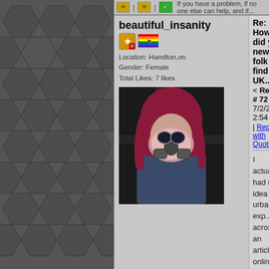If you have a problem, if no one else can help, and if...
beautiful_insanity
Location: Hamilton,on
Gender: Female
Total Likes: 7 likes
[Figure (photo): User avatar photo of person with pink/red hair wearing a pink gas mask]
Re: How did you new folk find UK...
< Reply # 72 on 7/2/2014 2:54 PM
| Reply with Quote
I actually had no idea that urban exp... across an article online in which so... more and came across this site.
mookster
Location: Oxford, UK
Gender: Male
Total Likes: 2165 likes
[Figure (photo): User avatar for mookster, partial view of green cartoon character]
Re: How did you new folk find UK...
< Reply # 73 on 7/2/2014 5:22 PM
| Reply with Quote
I knew of it for ages but never joine... a few forums and a gap recently ope...